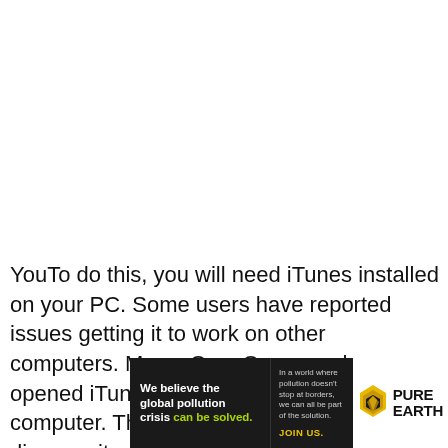YouTo do this, you will need iTunes installed on your PC. Some users have reported issues getting it to work on other computers. Macs. OnceOnce you have opened iTunes plug your phone into your computer. The iTunes application will then discover it.
[Figure (other): Pure Earth advertisement banner: 'We believe the global pollution crisis can be solved.' with tagline about pollution not stopping at borders, JOIN US call to action, and Pure Earth logo with diamond/arrow icon.]